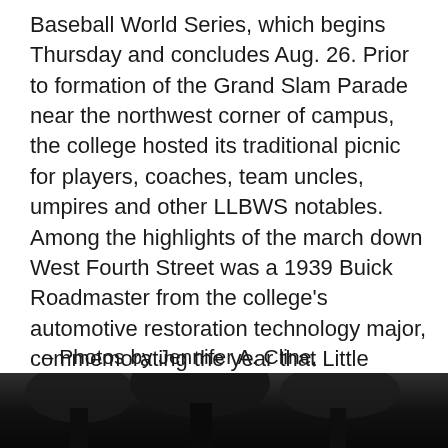Baseball World Series, which begins Thursday and concludes Aug. 26. Prior to formation of the Grand Slam Parade near the northwest corner of campus, the college hosted its traditional picnic for players, coaches, team uncles, umpires and other LLBWS notables. Among the highlights of the march down West Fourth Street was a 1939 Buick Roadmaster from the college's automotive restoration technology major, commemorating the year that Little League was born. The car is featured on this year's Penn College trading pin, which was attached to a cleverly designed baseball card and distributed along the parade route.
– Photos by Jennifer A. Cline, writer/magazine editor; Tom Wilson, writer/editor-PCToday; and Larry D. Kauffman, digital publishing specialist/photographer
[Figure (photo): Dark photograph strip at the bottom of the page, showing trees or outdoor scene in very low light]